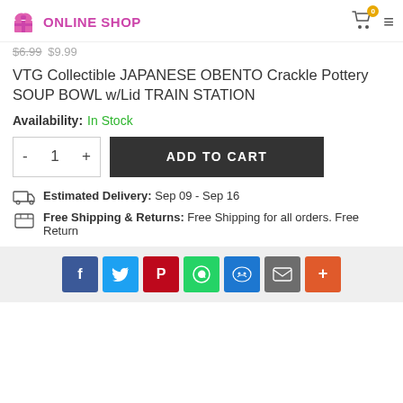ONLINE SHOP
$6.99 $9.99
VTG Collectible JAPANESE OBENTO Crackle Pottery SOUP BOWL w/Lid TRAIN STATION
Availability: In Stock
ADD TO CART
Estimated Delivery: Sep 09 - Sep 16
Free Shipping & Returns: Free Shipping for all orders. Free Return
[Figure (other): Social sharing buttons: Facebook, Twitter, Pinterest, WhatsApp, Messenger, Email, More]